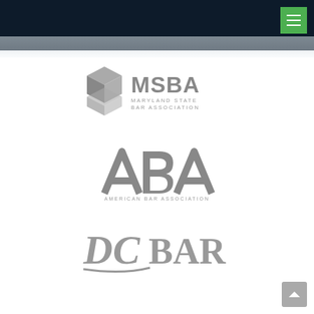[Figure (logo): MSBA Maryland State Bar Association logo in grey]
[Figure (logo): ABA American Bar Association logo in grey]
[Figure (logo): DC Bar logo in grey italic style]